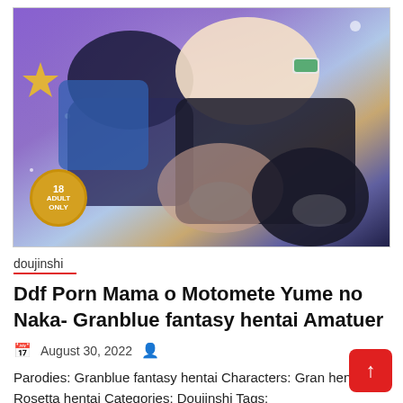[Figure (illustration): Manga/doujinshi cover art showing anime characters in a fantasy style. Features an 'ADULT ONLY 18+' badge in the bottom left corner. Purple and blue toned background with sparkles and stars.]
doujinshi
Ddf Porn Mama o Motomete Yume no Naka- Granblue fantasy hentai Amatuer
August 30, 2022
Parodies: Granblue fantasy hentai Characters: Gran hentai, Rosetta hentai Categories: Doujinshi Tags: